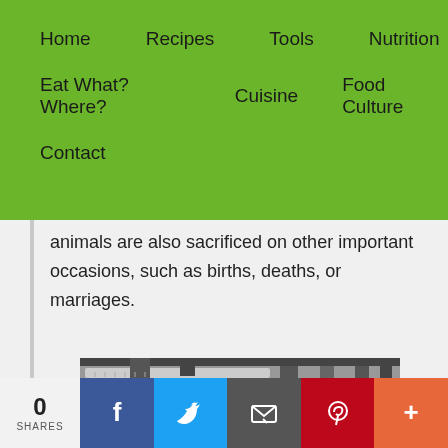Home   Recipes   Tools   Nutrition   Eat What? Where?   Cuisine   Food Culture   Contact
animals are also sacrificed on other important occasions, such as births, deaths, or marriages.
[Figure (photo): Black and white photograph of wooden shelving racks with food items (possibly drying meats or fish) stacked on multiple levels in what appears to be a storage or processing area.]
0 SHARES  [Facebook] [Twitter] [Email] [Pinterest] [More]